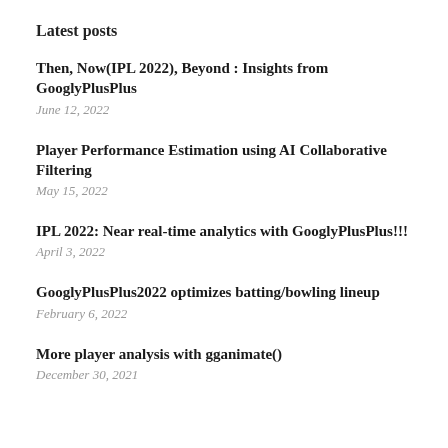Latest posts
Then, Now(IPL 2022), Beyond : Insights from GooglyPlusPlus
June 12, 2022
Player Performance Estimation using AI Collaborative Filtering
May 15, 2022
IPL 2022: Near real-time analytics with GooglyPlusPlus!!!
April 3, 2022
GooglyPlusPlus2022 optimizes batting/bowling lineup
February 6, 2022
More player analysis with gganimate()
December 30, 2021